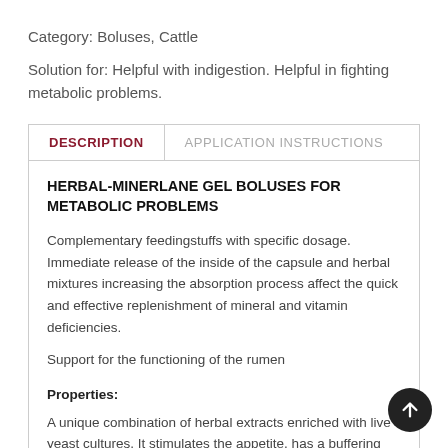Category: Boluses, Cattle
Solution for: Helpful with indigestion. Helpful in fighting metabolic problems.
| DESCRIPTION | APPLICATION INSTRUCTIONS |
| --- | --- |
HERBAL-MINERLANE GEL BOLUSES FOR METABOLIC PROBLEMS
Complementary feedingstuffs with specific dosage. Immediate release of the inside of the capsule and herbal mixtures increasing the absorption process affect the quick and effective replenishment of mineral and vitamin deficiencies.
Support for the functioning of the rumen
Properties:
A unique combination of herbal extracts enriched with live yeast cultures. It stimulates the appetite, has a buffering